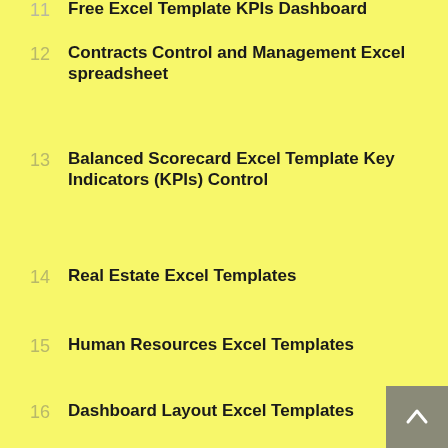12  Contracts Control and Management Excel spreadsheet
13  Balanced Scorecard Excel Template Key Indicators (KPIs) Control
14  Real Estate Excel Templates
15  Human Resources Excel Templates
16  Dashboard Layout Excel Templates
17  Restaurants Sales forecast Free Excel Template
18  Business Plan Budget 5 Years M1 Free Excel Template